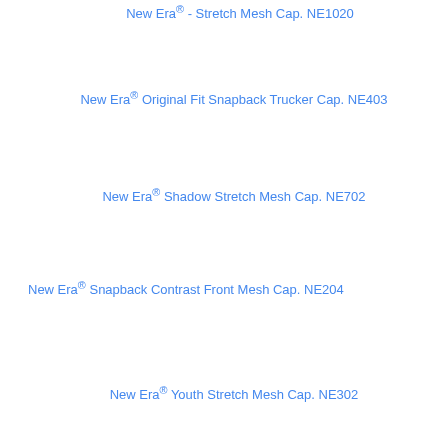New Era® - Stretch Mesh Cap. NE1020
New Era® Original Fit Snapback Trucker Cap. NE403
New Era® Shadow Stretch Mesh Cap. NE702
New Era® Snapback Contrast Front Mesh Cap. NE204
New Era® Youth Stretch Mesh Cap. NE302